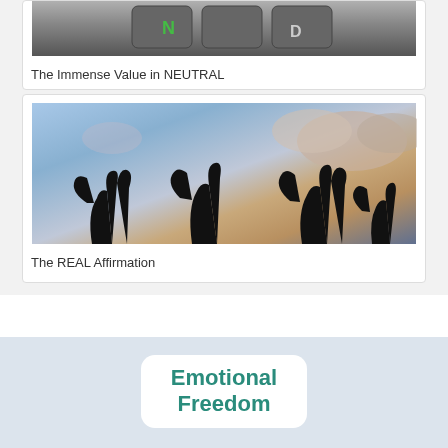[Figure (photo): Close-up photo of a remote control or keyboard with a green N key visible, in grayscale/dark tones]
The Immense Value in NEUTRAL
[Figure (photo): Silhouettes of hands giving thumbs up against a dramatic sky with clouds and warm sunset light]
The REAL Affirmation
[Figure (logo): Emotional Freedom badge/logo with teal text on white rounded rectangle background, text reads Emotional Freedom (partially visible)]